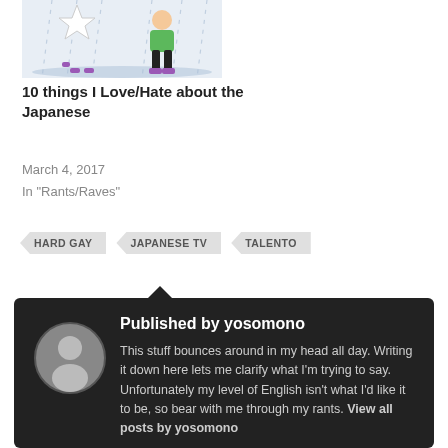[Figure (illustration): Thumbnail image of cartoon characters — a snowflake/ninja figure and a person in green top with black pants, purple shoes, rain in background]
10 things I Love/Hate about the Japanese
March 4, 2017
In "Rants/Raves"
HARD GAY
JAPANESE TV
TALENTO
Published by yosomono
This stuff bounces around in my head all day. Writing it down here lets me clarify what I'm trying to say. Unfortunately my level of English isn't what I'd like it to be, so bear with me through my rants. View all posts by yosomono